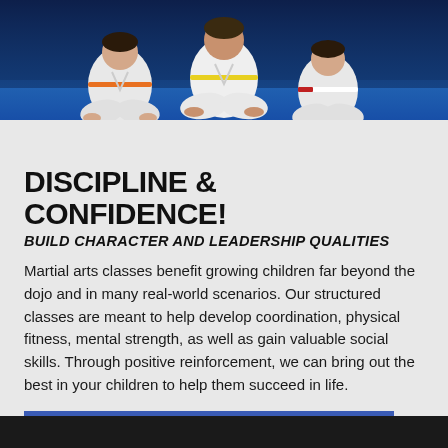[Figure (photo): Children in white martial arts uniforms (gi) with colored belts sitting cross-legged on a blue mat, viewed from behind/side, dark blue background at top]
DISCIPLINE & CONFIDENCE!
BUILD CHARACTER AND LEADERSHIP QUALITIES
Martial arts classes benefit growing children far beyond the dojo and in many real-world scenarios. Our structured classes are meant to help develop coordination, physical fitness, mental strength, as well as gain valuable social skills. Through positive reinforcement, we can bring out the best in your children to help them succeed in life.
VIEW OUR KID'S MARTIAL ARTS PROGRAM